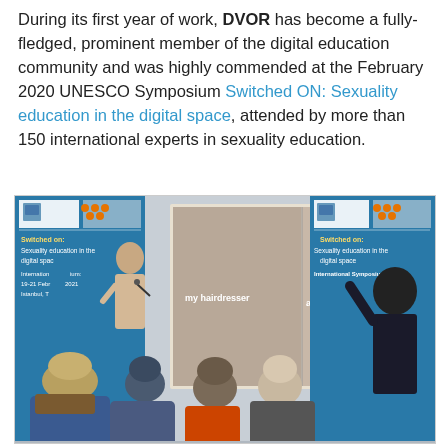During its first year of work, DVOR has become a fully-fledged, prominent member of the digital education community and was highly commended at the February 2020 UNESCO Symposium Switched ON: Sexuality education in the digital space, attended by more than 150 international experts in sexuality education.
[Figure (photo): Conference room photo showing a presenter standing at a screen displaying a meme about sex education, with an audience seated with backs to the camera. UNESCO 'Switched ON: Sexuality education in the digital space' banners visible on both sides.]